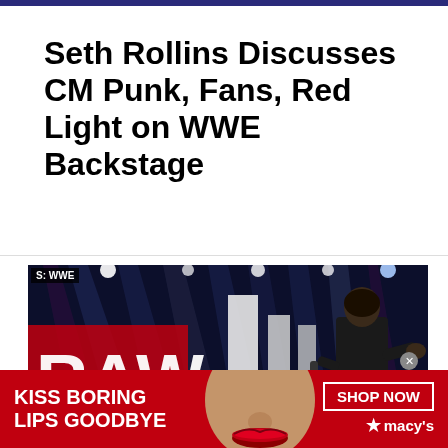Seth Rollins Discusses CM Punk, Fans, Red Light on WWE Backstage
[Figure (screenshot): Screenshot of WWE RAW stage with Seth Rollins standing at a microphone on stage. Red RAW logo visible on left, bright stage lights in background. Small 'S: WWE' badge in upper left corner.]
[Figure (photo): Macy's advertisement banner with red background. Text reads 'KISS BORING LIPS GOODBYE' on left, woman's face with red lips in center, 'SHOP NOW' button and Macy's star logo on right.]